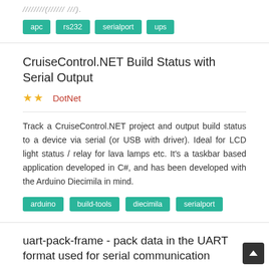////////(////// ///).
apc  rs232  serialport  ups
CruiseControl.NET Build Status with Serial Output
★★  DotNet
Track a CruiseControl.NET project and output build status to a device via serial (or USB with driver). Ideal for LCD light status / relay for lava lamps etc. It's a taskbar based application developed in C#, and has been developed with the Arduino Diecimila in mind.
arduino  build-tools  diecimila  serialport
uart-pack-frame - pack data in the UART format used for serial communication